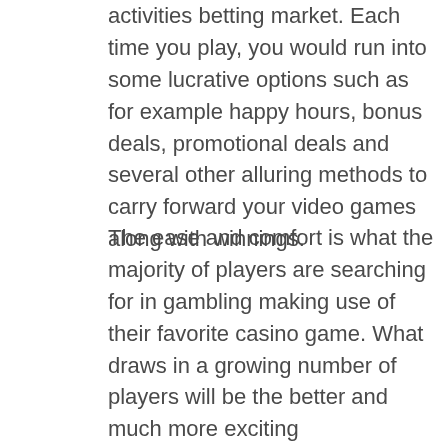activities betting market. Each time you play, you would run into some lucrative options such as for example happy hours, bonus deals, promotional deals and several other alluring methods to carry forward your video games along with winnings.
The ease and comfort is what the majority of players are searching for in gambling making use of their favorite casino game. What draws in a growing number of players will be the better and much more exciting entertainment provided by these game slots. Dominogames presents a whole directory of on-range domino video gaming, where you might play towards a personal computer opponent or towards gamers from across the arena. To be reasonable, any bonus if much better than